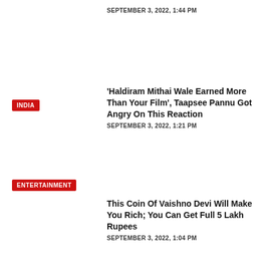SEPTEMBER 3, 2022, 1:44 PM
INDIA
‘Haldiram Mithai Wale Earned More Than Your Film’, Taapsee Pannu Got Angry On This Reaction
SEPTEMBER 3, 2022, 1:21 PM
ENTERTAINMENT
This Coin Of Vaishno Devi Will Make You Rich; You Can Get Full 5 Lakh Rupees
SEPTEMBER 3, 2022, 1:04 PM